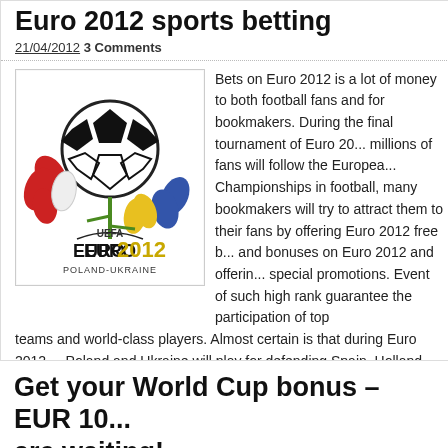Euro 2012 sports betting
21/04/2012  3 Comments
[Figure (logo): UEFA Euro 2012 Poland-Ukraine official logo with stylized football and flowers]
Bets on Euro 2012 is a lot of money to both football fans and for bookmakers. During the final tournament of Euro 20... millions of fans will follow the Europea... Championships in football, many bookmakers will try to attract them to their fans by offering Euro 2012 free b... and bonuses on Euro 2012 and offerin... special promotions. Event of such high rank guarantee the participation of top teams and world-class players. Almost certain is that during Euro 2012 ... Poland and Ukraine will play for defending Spain, Holland, Germany, [...]
Read mo...
Get your World Cup bonus – EUR 10... are waiting!